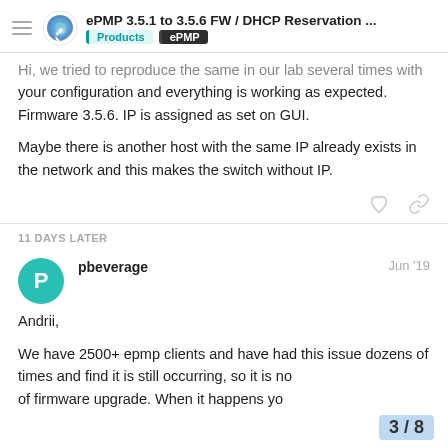ePMP 3.5.1 to 3.5.6 FW / DHCP Reservation ... | Products | ePMP
Hi, we tried to reproduce the same in our lab several times with your configuration and everything is working as expected. Firmware 3.5.6. IP is assigned as set on GUI.
Maybe there is another host with the same IP already exists in the network and this makes the switch without IP.
11 DAYS LATER
pbeverage
Jun '19
Andrii,
We have 2500+ epmp clients and have had this issue dozens of times and find it is still occurring, so it is no... of firmware upgrade. When it happens yo